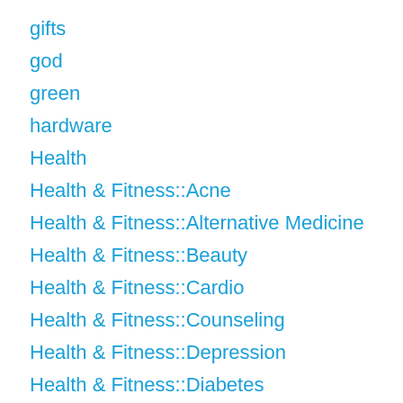gifts
god
green
hardware
Health
Health & Fitness::Acne
Health & Fitness::Alternative Medicine
Health & Fitness::Beauty
Health & Fitness::Cardio
Health & Fitness::Counseling
Health & Fitness::Depression
Health & Fitness::Diabetes
Health & Fitness::Exercise
Health & Fitness::Fitness Equipment
Health & Fitness::Hair Loss